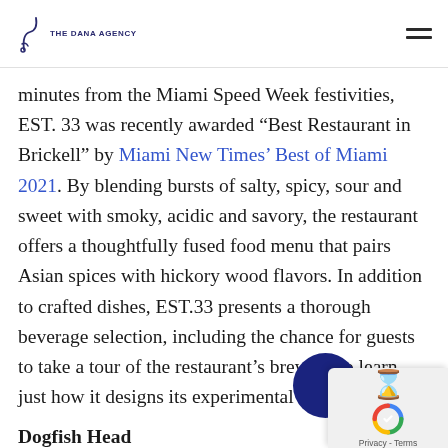THE DANA AGENCY
minutes from the Miami Speed Week festivities, EST. 33 was recently awarded “Best Restaurant in Brickell” by Miami New Times’ Best of Miami 2021. By blending bursts of salty, spicy, sour and sweet with smoky, acidic and savory, the restaurant offers a thoughtfully fused food menu that pairs Asian spices with hickory wood flavors. In addition to crafted dishes, EST.33 presents a thorough beverage selection, including the chance for guests to take a tour of the restaurant’s brewery to learn just how it designs its experimental creations.
Dogfish Head